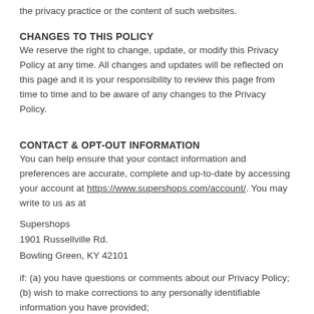the privacy practice or the content of such websites.
CHANGES TO THIS POLICY
We reserve the right to change, update, or modify this Privacy Policy at any time. All changes and updates will be reflected on this page and it is your responsibility to review this page from time to time and to be aware of any changes to the Privacy Policy.
CONTACT & OPT-OUT INFORMATION
You can help ensure that your contact information and preferences are accurate, complete and up-to-date by accessing your account at https://www.supershops.com/account/. You may write to us as at
Supershops
1901 Russellville Rd.
Bowling Green, KY 42101
if: (a) you have questions or comments about our Privacy Policy;
(b) wish to make corrections to any personally identifiable information you have provided;